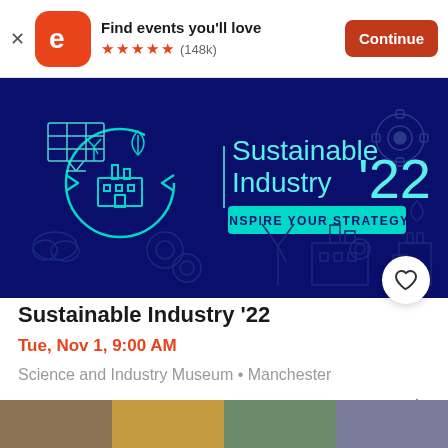Find events you'll love  ★★★★★ (148k)  Continue
[Figure (illustration): Sustainable Industry '22 event banner on dark blue background with teal icons (solar panel, wind turbine, circular arrows, gears, factory, cloud) and text 'Sustainable Industry '22 - INSPIRE YOUR STRATEGY']
Sustainable Industry '22
Tue, Nov 1, 9:00 AM
Science and Industry Museum • Manchester
Free
[Figure (photo): Bottom strip of partial photos/thumbnails]